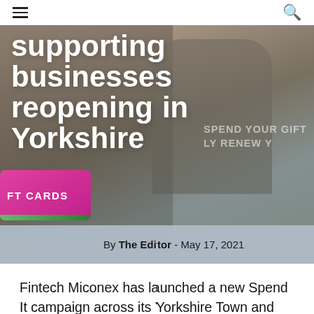≡  [hamburger menu]  [search icon]
[Figure (photo): Hero image showing clothing/fabric in background with a person, overlaid with large white bold text reading 'supporting businesses reopening in Yorkshire'. Bottom left shows a pink and green gift card element with text 'FT CARDS'. Right side has semi-transparent watermark text 'SPEND YOUR GIFT ... LY RENEW Y'. Author bar at bottom reads 'By The Editor - May 17, 2021'.]
Fintech Miconex has launched a new Spend It campaign across its Yorkshire Town and City Gift Card programmes, in Barnsley, Sheffield, Harrogate,